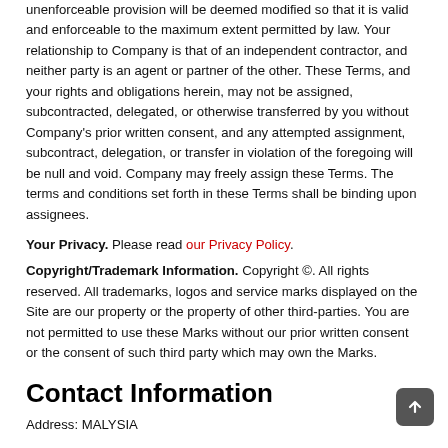unenforceable provision will be deemed modified so that it is valid and enforceable to the maximum extent permitted by law. Your relationship to Company is that of an independent contractor, and neither party is an agent or partner of the other. These Terms, and your rights and obligations herein, may not be assigned, subcontracted, delegated, or otherwise transferred by you without Company's prior written consent, and any attempted assignment, subcontract, delegation, or transfer in violation of the foregoing will be null and void. Company may freely assign these Terms. The terms and conditions set forth in these Terms shall be binding upon assignees.
Your Privacy. Please read our Privacy Policy.
Copyright/Trademark Information. Copyright ©. All rights reserved. All trademarks, logos and service marks displayed on the Site are our property or the property of other third-parties. You are not permitted to use these Marks without our prior written consent or the consent of such third party which may own the Marks.
Contact Information
Address: MALYSIA